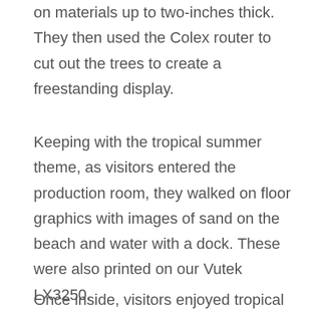on materials up to two-inches thick. They then used the Colex router to cut out the trees to create a freestanding display.
Keeping with the tropical summer theme, as visitors entered the production room, they walked on floor graphics with images of sand on the beach and water with a dock. These were also printed on our Vutek LX3250.
Once inside, visitors enjoyed tropical